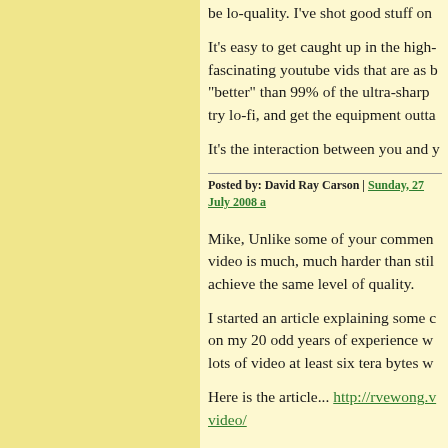be lo-quality. I've shot good stuff on
It's easy to get caught up in the high- fascinating youtube vids that are as b "better" than 99% of the ultra-sharp try lo-fi, and get the equipment outta
It's the interaction between you and y
Posted by: David Ray Carson | Sunday, 27 July 2008 a
Mike, Unlike some of your commen video is much, much harder than stil achieve the same level of quality.
I started an article explaining some c on my 20 odd years of experience w lots of video at least six tera bytes w
Here is the article... http://rvewong.v video/